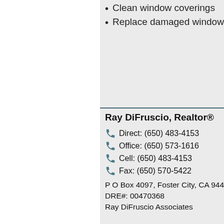Clean window coverings
Replace damaged window
Ray DiFruscio, Realtor®
Direct: (650) 483-4153
Office: (650) 573-1616
Cell: (650) 483-4153
Fax: (650) 570-5422
P O Box 4097, Foster City, CA 944
DRE#: 00470368
Ray DiFruscio Associates